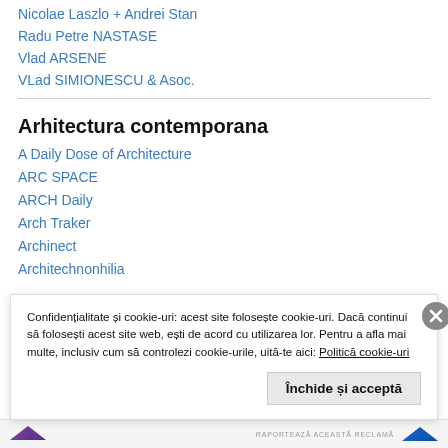Nicolae Laszlo + Andrei Stan
Radu Petre NASTASE
Vlad ARSENE
VLad SIMIONESCU & Asoc.
Arhitectura contemporana
A Daily Dose of Architecture
ARC SPACE
ARCH Daily
Arch Traker
Archinect
Architechnonhilia
Confidențialitate și cookie-uri: acest site folosește cookie-uri. Dacă continui să folosești acest site web, ești de acord cu utilizarea lor. Pentru a afla mai multe, inclusiv cum să controlezi cookie-urile, uită-te aici: Politică cookie-uri
Închide și acceptă